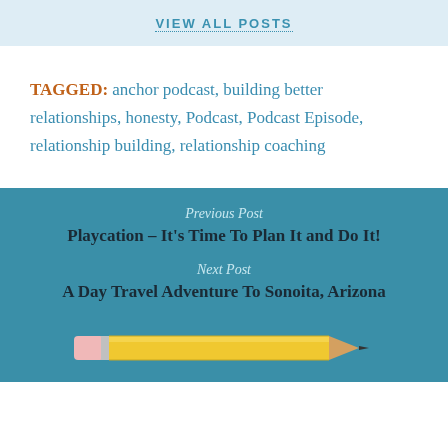VIEW ALL POSTS
TAGGED: anchor podcast, building better relationships, honesty, Podcast, Podcast Episode, relationship building, relationship coaching
Previous Post
Playcation – It's Time To Plan It and Do It!
Next Post
A Day Travel Adventure To Sonoita, Arizona
[Figure (illustration): Yellow pencil illustration at the bottom of the page]